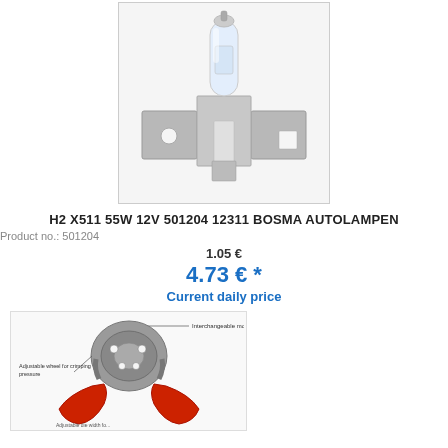[Figure (photo): Halogen automotive bulb H2 with metal bracket/clip mount, clear glass bulb on metallic base]
H2 X511 55W 12V 501204 12311 BOSMA AUTOLAMPEN
Product no.: 501204
1.05 €
4.73 € *
Current daily price
[Figure (photo): Crimping tool/pliers with red handles and labels: 'Interchangeable module' and 'Adjustable wheel for crimping pressure']